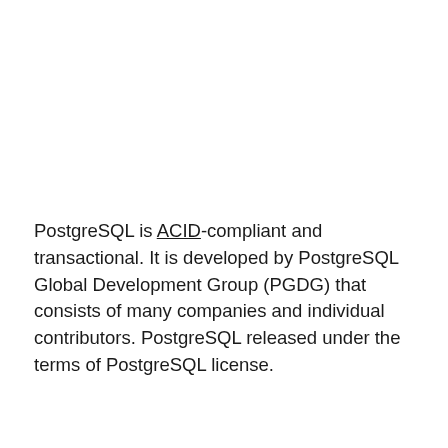PostgreSQL is ACID-compliant and transactional. It is developed by PostgreSQL Global Development Group (PGDG) that consists of many companies and individual contributors. PostgreSQL released under the terms of PostgreSQL license.